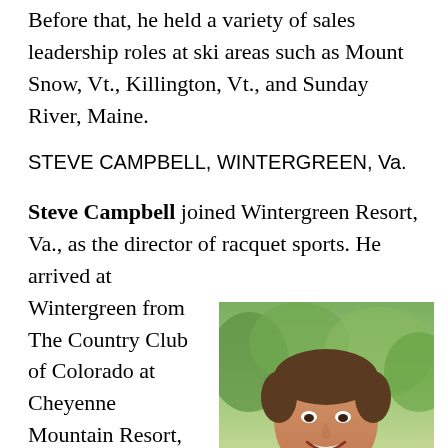Before that, he held a variety of sales leadership roles at ski areas such as Mount Snow, Vt., Killington, Vt., and Sunday River, Maine.
STEVE CAMPBELL, WINTERGREEN, Va.
Steve Campbell joined Wintergreen Resort, Va., as the director of racquet sports. He arrived at Wintergreen from The Country Club of Colorado at Cheyenne Mountain Resort, Colo., where he was the director of tennis for the past
[Figure (photo): Headshot photo of Steve Campbell, a middle-aged man with brown hair, smiling, wearing a teal/blue polo shirt, with green trees in the background. A reCAPTCHA badge appears in the bottom-right corner.]